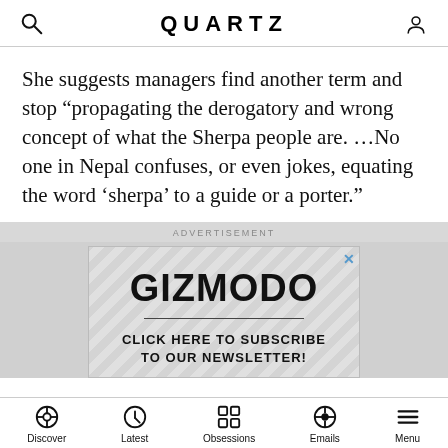QUARTZ
She suggests managers find another term and stop “propagating the derogatory and wrong concept of what the Sherpa people are. …No one in Nepal confuses, or even jokes, equating the word ‘sherpa’ to a guide or a porter.”
ADVERTISEMENT
[Figure (other): Gizmodo advertisement banner with diagonal stripe pattern background, Gizmodo logo in large bold text, a horizontal divider line, and text reading CLICK HERE TO SUBSCRIBE TO OUR NEWSLETTER!]
Discover  Latest  Obsessions  Emails  Menu